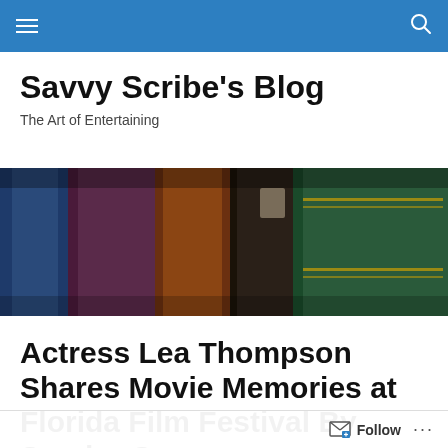Savvy Scribe's Blog — navigation bar
Savvy Scribe's Blog
The Art of Entertaining
[Figure (photo): Close-up of a row of old hardcover books standing upright, showing spines in blue, purple, brown/orange, dark brown, and green with gold decorative lines.]
Actress Lea Thompson Shares Movie Memories at Florida Film Festival By Sandra Gor...
Follow